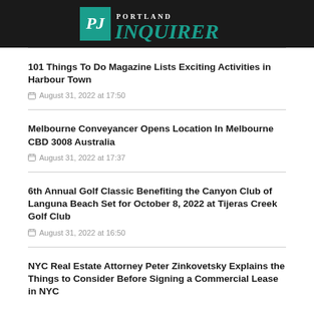Portland Inquirer
101 Things To Do Magazine Lists Exciting Activities in Harbour Town
August 31, 2022 at 17:50
Melbourne Conveyancer Opens Location In Melbourne CBD 3008 Australia
August 31, 2022 at 17:37
6th Annual Golf Classic Benefiting the Canyon Club of Languna Beach Set for October 8, 2022 at Tijeras Creek Golf Club
August 31, 2022 at 16:50
NYC Real Estate Attorney Peter Zinkovetsky Explains the Things to Consider Before Signing a Commercial Lease in NYC